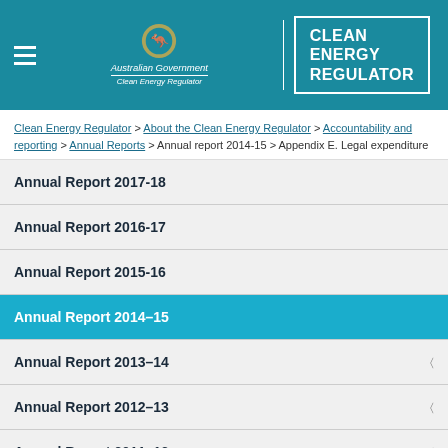[Figure (logo): Australian Government Clean Energy Regulator logo with crest, government name, agency name, and 'CLEAN ENERGY REGULATOR' text in white box on teal header background]
Clean Energy Regulator > About the Clean Energy Regulator > Accountability and reporting > Annual Reports > Annual report 2014-15 > Appendix E. Legal expenditure
Annual Report 2017-18
Annual Report 2016-17
Annual Report 2015-16
Annual Report 2014–15
Annual Report 2013–14
Annual Report 2012–13
Annual Report 2011–12
Appendix E. Legal